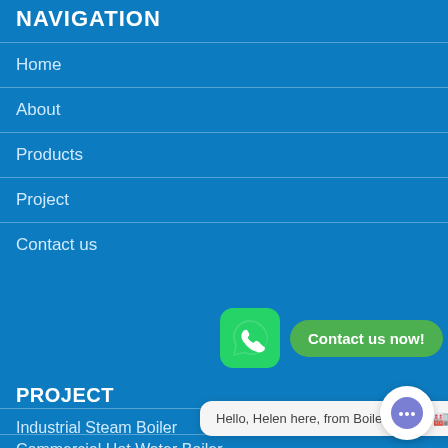NAVIGATION
Home
About
Products
Project
Contact us
[Figure (other): WhatsApp icon with green rounded square and white phone/chat logo, plus green pill button saying Contact us now!]
PROJECT
Industrial Steam Boiler
Commercial Hot Water Boiler
Hello, Helen here, from Boiler factory 🏭